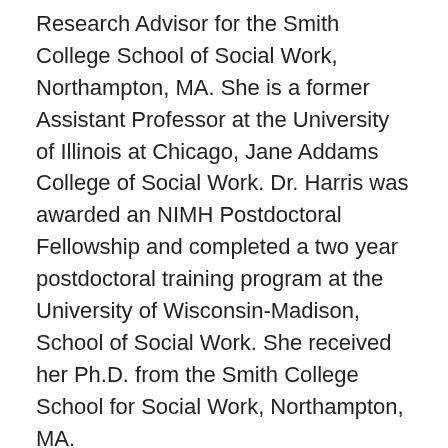Research Advisor for the Smith College School of Social Work, Northampton, MA. She is a former Assistant Professor at the University of Illinois at Chicago, Jane Addams College of Social Work. Dr. Harris was awarded an NIMH Postdoctoral Fellowship and completed a two year postdoctoral training program at the University of Wisconsin-Madison, School of Social Work. She received her Ph.D. from the Smith College School for Social Work, Northampton, MA.
Among the awards she received at Smith College were the following: Bertha Capen Reynolds Fellowship, Roger R. Miller Dissertation Grant, and a SAMSA Clinical Training Award. Dr. Harris is a former consultant for the U.S. Children's Bureau. She is a Licensed Independent Social Worker who has a private practice for psychotherapy and consultation in Tacoma, WA. She is the former Chair of the Pubic